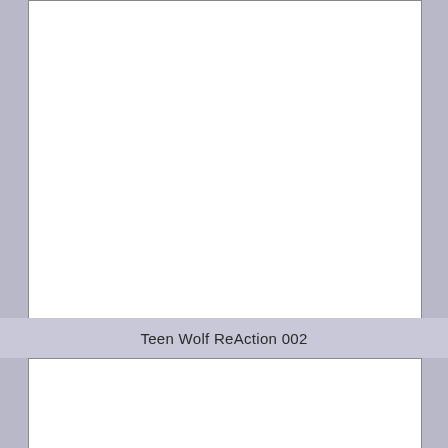[Figure (other): Top white rectangular panel, blank/empty image area]
Teen Wolf ReAction 002
[Figure (other): Bottom white rectangular panel, blank/empty image area (partially visible)]